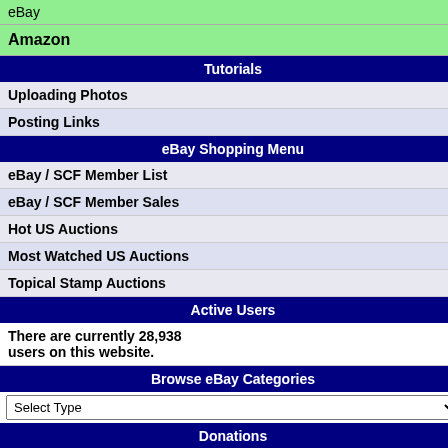eBay
Amazon
Tutorials
Uploading Photos
Posting Links
eBay Shopping Menu
eBay / SCF Member List
eBay / SCF Member Sales
Hot US Auctions
Most Watched US Auctions
Topical Stamp Auctions
Active Users
There are currently 28,938 users on this website.
Browse eBay Categories
Select Type
Donations
Donate
All Forums   Category: Stamp Community F...
Feb. 11 Quiz: How's Your...
To participate in...
| Author | Re... |
| --- | --- |
| pnjstamps
Valued Member
[USS Constellation stamp image]
United States
74 Posts | Posted 02/12/20...
Thailand for the h... |
| EdziuMM
Valued Member | Posted 02/12/20... |